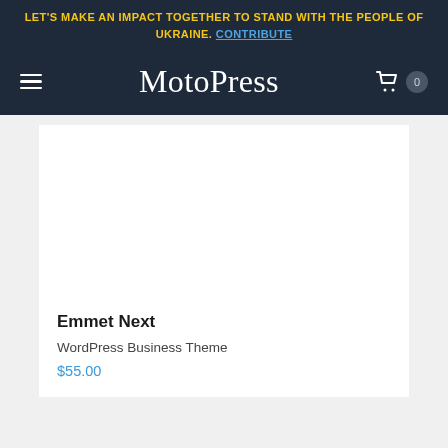LET'S MAKE AN IMPACT TOGETHER TO STAND WITH THE PEOPLE OF UKRAINE. CONTRIBUTE
[Figure (logo): MotoPress logo with hamburger menu icon on left and shopping cart with badge (0) on right, on dark navy background]
Emmet Next
WordPress Business Theme
$55.00